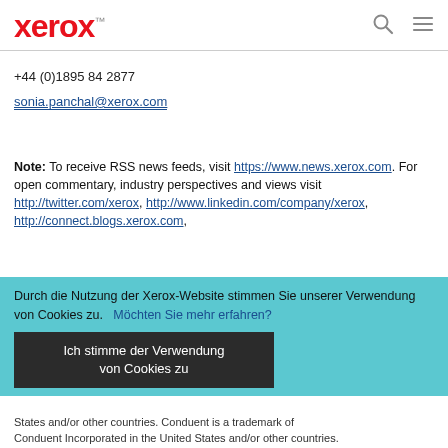xerox™
+44 (0)1895 84 2877
sonia.panchal@xerox.com
Note: To receive RSS news feeds, visit https://www.news.xerox.com. For open commentary, industry perspectives and views visit http://twitter.com/xerox, http://www.linkedin.com/company/xerox, http://connect.blogs.xerox.com,
Durch die Nutzung der Xerox-Website stimmen Sie unserer Verwendung von Cookies zu.   Möchten Sie mehr erfahren?
Ich stimme der Verwendung von Cookies zu
States and/or other countries. Conduent is a trademark of Conduent Incorporated in the United States and/or other countries.